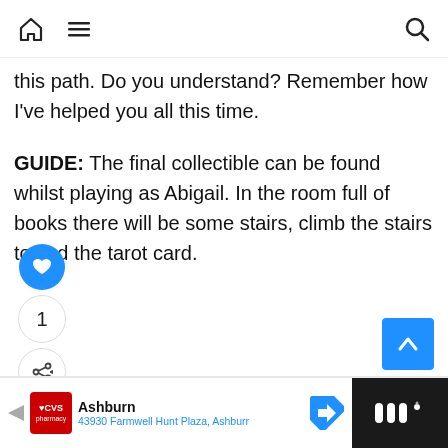Home | Menu | Search
this path. Do you understand? Remember how I've helped you all this time.
GUIDE: The final collectible can be found whilst playing as Abigail. In the room full of books there will be some stairs, climb the stairs to find the tarot card.
[Figure (infographic): Social interaction buttons: heart/like button (blue circle), count '1', share button]
[Figure (infographic): Back to top button (blue square with upward arrow)]
WHAT'S NEXT → The Quarry – All 5...
[Figure (photo): The Quarry game promotional thumbnail with dark horror imagery]
[Figure (infographic): CVS Pharmacy advertisement banner: Ashburn, 43930 Farmwell Hunt Plaza, Ashburr]